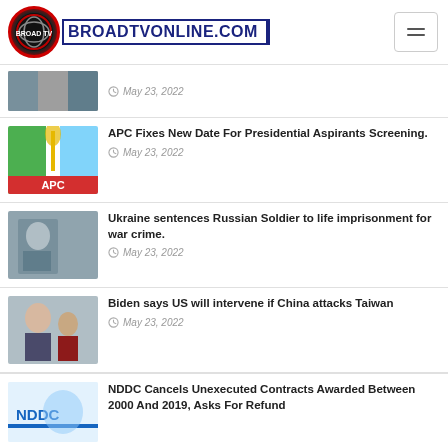[Figure (logo): BroadTVOnline.com website logo with circular icon and text]
May 23, 2022
APC Fixes New Date For Presidential Aspirants Screening. | May 23, 2022
Ukraine sentences Russian Soldier to life imprisonment for war crime. | May 23, 2022
Biden says US will intervene if China attacks Taiwan | May 23, 2022
NDDC Cancels Unexecuted Contracts Awarded Between 2000 And 2019, Asks For Refund